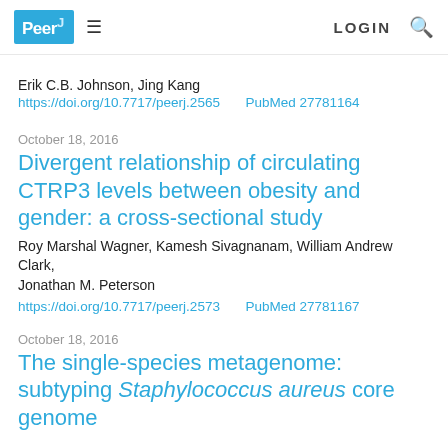PeerJ LOGIN
Erik C.B. Johnson, Jing Kang
https://doi.org/10.7717/peerj.2565    PubMed 27781164
October 18, 2016
Divergent relationship of circulating CTRP3 levels between obesity and gender: a cross-sectional study
Roy Marshal Wagner, Kamesh Sivagnanam, William Andrew Clark, Jonathan M. Peterson
https://doi.org/10.7717/peerj.2573    PubMed 27781167
October 18, 2016
The single-species metagenome: subtyping Staphylococcus aureus core genome